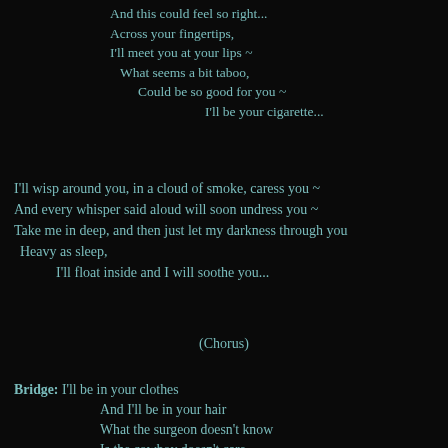And this could feel so right...
Across your fingertips,
I'll meet you at your lips ~
 What seems a bit taboo,
  Could be so good for you ~
            I'll be your cigarette...
I'll wisp around you, in a cloud of smoke, caress you ~
And every whisper said aloud will soon undress you ~
Take me in deep, and then just let my darkness through you
 Heavy as sleep,
     I'll float inside and I will soothe you...
(Chorus)
Bridge: I'll be in your clothes
        And I'll be in your hair
        What the surgeon doesn't know
        Is the cowboy doesn't care
        What goes up in smoke